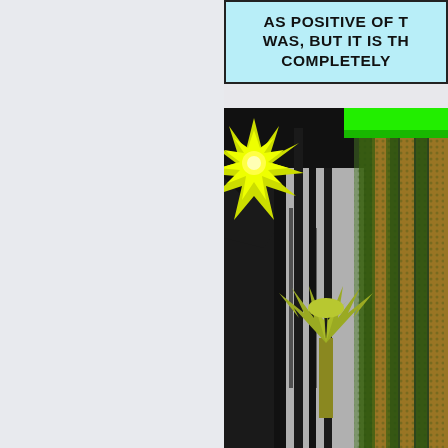[Figure (illustration): Left half: light gray/blue empty panel background. Right half: Comic book panel showing a jungle scene with dramatic illustration. Upper right has a speech bubble with partial text 'AS POSITIVE OF TH... WAS, BUT IT IS TH... COMPLETELY...' on light blue background. Below the speech bubble is a vivid comic illustration featuring: a large yellow-green starburst/explosion effect in upper left area of the panel, orange vertical stripes/vines running down the right side, bright green horizontal vine/branch across the top right, dark black dramatic foliage and tree trunks in center-left, gray background behind dark vegetation, and a yellow-olive stylized palm tree or plant in the lower center against the gray background. The art style is classic comic book with halftone dots, bold outlines, and vivid colors.]